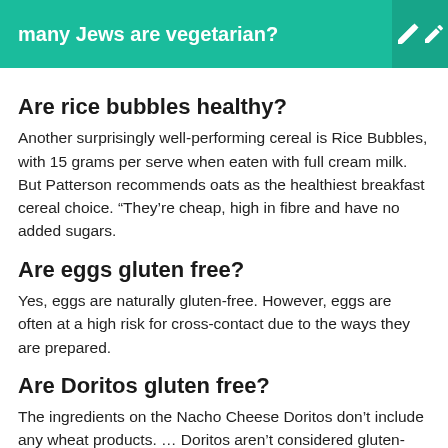many Jews are vegetarian?
Are rice bubbles healthy?
Another surprisingly well-performing cereal is Rice Bubbles, with 15 grams per serve when eaten with full cream milk. But Patterson recommends oats as the healthiest breakfast cereal choice. “They’re cheap, high in fibre and have no added sugars.
Are eggs gluten free?
Yes, eggs are naturally gluten-free. However, eggs are often at a high risk for cross-contact due to the ways they are prepared.
Are Doritos gluten free?
The ingredients on the Nacho Cheese Doritos don’t include any wheat products. … Doritos aren’t considered gluten-free by Frito-Lay because there’s a chance of cross-